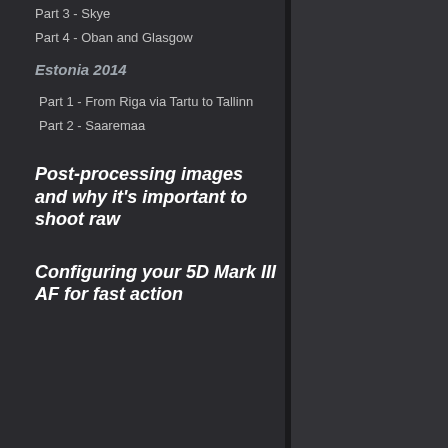Part 3 - Skye
Part 4 - Oban and Glasgow
Estonia 2014
Part 1 - From Riga via Tartu to Tallinn
Part 2 - Saaremaa
Post-processing images and why it's important to shoot raw
Configuring your 5D Mark III AF for fast action